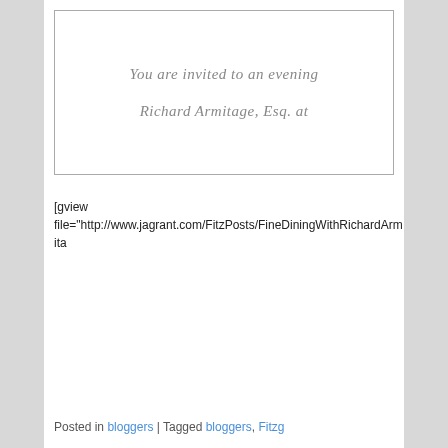[Figure (other): A formal invitation card with cursive/script text reading 'You are invited to an evening' on the first line and 'Richard Armitage, Esq. at' on the second line, displayed in grey italic script on a white card with a thin border.]
[gview file="http://www.jagrant.com/FitzPosts/FineDiningWithRichardArmita
Posted in bloggers | Tagged bloggers, Fitzg